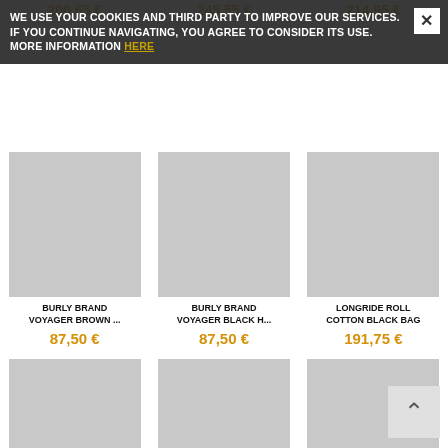WE USE YOUR COOKIES AND THIRD PARTY TO IMPROVE OUR SERVICES. IF YOU CONTINUE NAVIGATING, YOU AGREE TO CONSIDER ITS USE. MORE INFORMATION HERE
[Figure (photo): Grey placeholder image for Burly Brand Voyager Brown product]
BURLY BRAND VOYAGER BROWN ...
87,50 €
[Figure (photo): Grey placeholder image for Burly Brand Voyager Black H product]
BURLY BRAND VOYAGER BLACK H...
87,50 €
[Figure (photo): Grey placeholder image for Longride Roll Cotton Black Bag product]
LONGRIDE ROLL COTTON BLACK BAG
191,75 €
[Figure (photo): Grey placeholder image for Baul Saddlemen S3500S Con Tachu product]
BAUL SADDLEMEN S3500S CON TACHU...
244,89 €
[Figure (photo): Grey placeholder image for Inside Bag Alforja Bando product]
INSIDE BAG ALFORJA BANDO
40,00 €
[Figure (photo): Grey placeholder image for Basic Military Green Belt Bag P product]
BASIC MILITARY GREEN BELT BAG P...
35,00 €